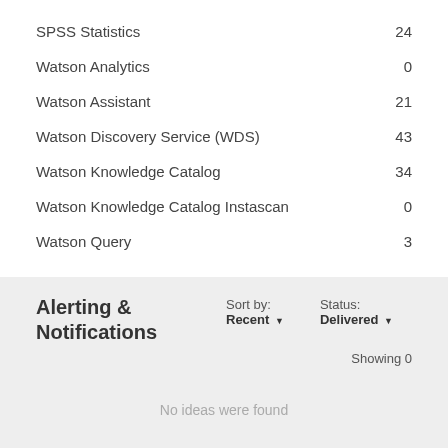SPSS Statistics	24
Watson Analytics	0
Watson Assistant	21
Watson Discovery Service (WDS)	43
Watson Knowledge Catalog	34
Watson Knowledge Catalog Instascan	0
Watson Query	3
Alerting & Notifications
Sort by: Recent ▼
Status: Delivered ▼
Showing 0
No ideas were found